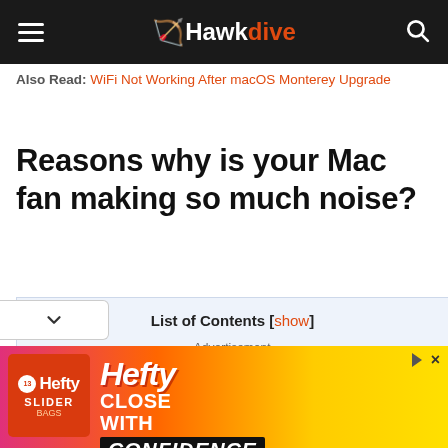Hawkdive
Also Read: WiFi Not Working After macOS Monterey Upgrade
Reasons why is your Mac fan making so much noise?
List of Contents [show]
- Advertisement -
[Figure (other): Hefty Slider bag advertisement banner at bottom of page]